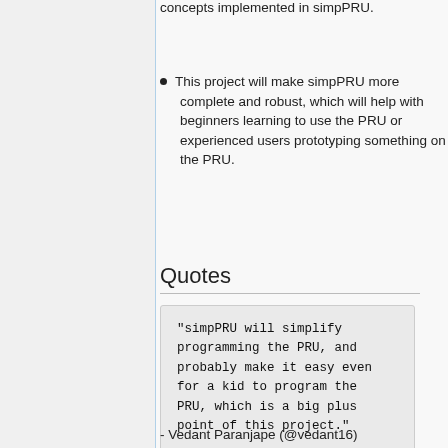writing would cover all the topics,the detailed concepts implemented in simpPRU.
This project will make simpPRU more complete and robust, which will help with beginners learning to use the PRU or experienced users prototyping something on the PRU.
Quotes
"simpPRU will simplify programming the PRU, and probably make it easy even for a kid to program the PRU, which is a big plus point of this project."
- Vedant Paranjape (@vedant16)